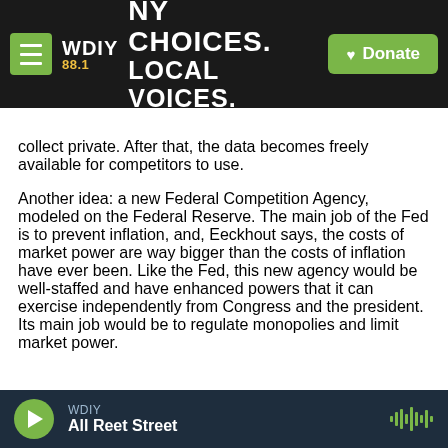WDIY 88.1 — NY CHOICES. LOCAL VOICES. [Donate]
collect private. After that, the data becomes freely available for competitors to use.

Another idea: a new Federal Competition Agency, modeled on the Federal Reserve. The main job of the Fed is to prevent inflation, and, Eeckhout says, the costs of market power are way bigger than the costs of inflation have ever been. Like the Fed, this new agency would be well-staffed and have enhanced powers that it can exercise independently from Congress and the president. Its main job would be to regulate monopolies and limit market power.
WDIY — All Reet Street